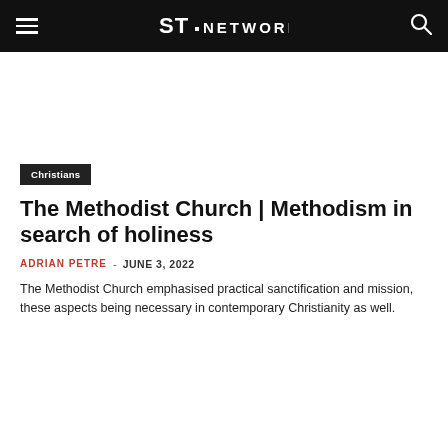ST. NETWORK
Christians
The Methodist Church | Methodism in search of holiness
ADRIAN PETRE – JUNE 3, 2022
The Methodist Church emphasised practical sanctification and mission, these aspects being necessary in contemporary Christianity as well.